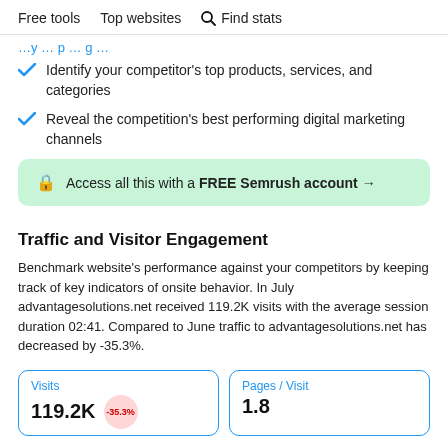Free tools   Top websites   Find stats
…y… p… g…
Identify your competitor's top products, services, and categories
Reveal the competition's best performing digital marketing channels
🔒 Access all this with a FREE Semrush account →
Traffic and Visitor Engagement
Benchmark website's performance against your competitors by keeping track of key indicators of onsite behavior. In July advantagesolutions.net received 119.2K visits with the average session duration 02:41. Compared to June traffic to advantagesolutions.net has decreased by -35.3%.
Visits 119.2K -35.3%
Pages / Visit 1.8